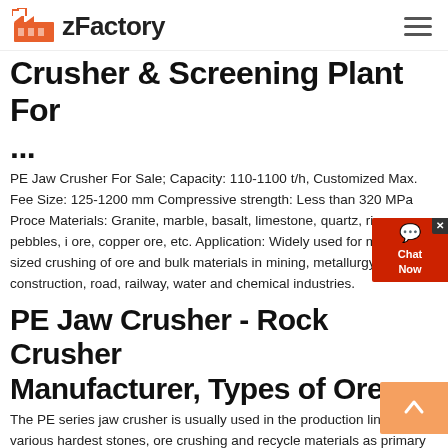zFactory
Crusher & Screening Plant For ...
PE Jaw Crusher For Sale; Capacity: 110-1100 t/h, Customized Max. Feed Size: 125-1200 mm Compressive strength: Less than 320 MPa Process Materials: Granite, marble, basalt, limestone, quartz, river pebbles, iron ore, copper ore, etc. Application: Widely used for medium-sized crushing of ore and bulk materials in mining, metallurgy, construction, road, railway, water and chemical industries.
PE Jaw Crusher - Rock Crusher Manufacturer, Types of Ore ...
The PE series jaw crusher is usually used in the production lines of various hardest stones, ore crushing and recycle materials as primary and secondary stage crusher. DSMAC jaw crusher is designed for materials whose compression strength is no more than 320Mpa. It simulates the movement of animal's two jaws, crushing the materials